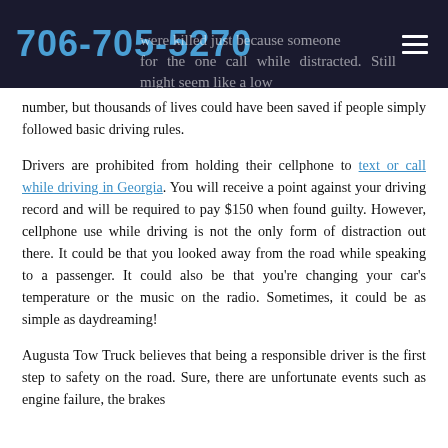706-705-5270
were killed just because someone for the one call while distracted. Still might seem like a low number, but thousands of lives could have been saved if people simply followed basic driving rules.
Drivers are prohibited from holding their cellphone to text or call while driving in Georgia. You will receive a point against your driving record and will be required to pay $150 when found guilty. However, cellphone use while driving is not the only form of distraction out there. It could be that you looked away from the road while speaking to a passenger. It could also be that you’re changing your car’s temperature or the music on the radio. Sometimes, it could be as simple as daydreaming!
Augusta Tow Truck believes that being a responsible driver is the first step to safety on the road. Sure, there are unfortunate events such as engine failure, the brakes and …